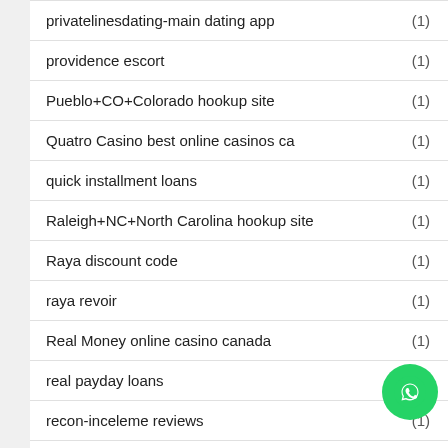privatelinesdating-main dating app (1)
providence escort (1)
Pueblo+CO+Colorado hookup site (1)
Quatro Casino best online casinos ca (1)
quick installment loans (1)
Raleigh+NC+North Carolina hookup site (1)
Raya discount code (1)
raya revoir (1)
Real Money online casino canada (1)
real payday loans
recon-inceleme reviews (1)